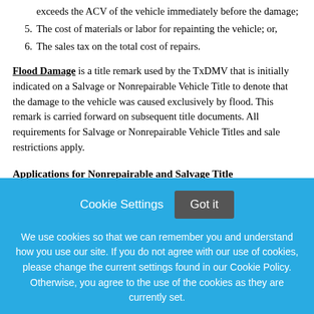exceeds the ACV of the vehicle immediately before the damage;
5. The cost of materials or labor for repainting the vehicle; or,
6. The sales tax on the total cost of repairs.
Flood Damage is a title remark used by the TxDMV that is initially indicated on a Salvage or Nonrepairable Vehicle Title to denote that the damage to the vehicle was caused exclusively by flood. This remark is carried forward on subsequent title documents. All requirements for Salvage or Nonrepairable Vehicle Titles and sale restrictions apply.
Applications for Nonrepairable and Salvage Title
Cookie Settings  Got it

We use cookies so that we can remember you and understand how you use our site. If you do not agree with our use of cookies, please change the current settings found in our Cookie Policy. Otherwise, you agree to the use of the cookies as they are currently set.